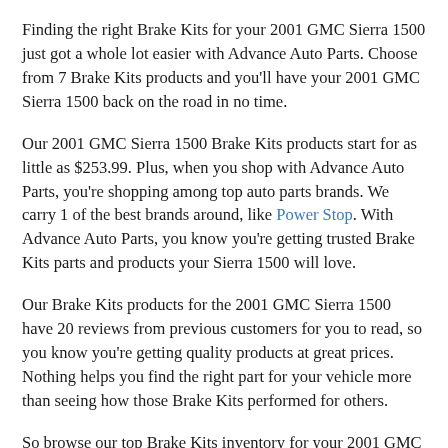Finding the right Brake Kits for your 2001 GMC Sierra 1500 just got a whole lot easier with Advance Auto Parts. Choose from 7 Brake Kits products and you'll have your 2001 GMC Sierra 1500 back on the road in no time.
Our 2001 GMC Sierra 1500 Brake Kits products start for as little as $253.99. Plus, when you shop with Advance Auto Parts, you're shopping among top auto parts brands. We carry 1 of the best brands around, like Power Stop. With Advance Auto Parts, you know you're getting trusted Brake Kits parts and products your Sierra 1500 will love.
Our Brake Kits products for the 2001 GMC Sierra 1500 have 20 reviews from previous customers for you to read, so you know you're getting quality products at great prices. Nothing helps you find the right part for your vehicle more than seeing how those Brake Kits performed for others.
So browse our top Brake Kits inventory for your 2001 GMC Sierra 1500 online and get products shipped right to your garage. Or head over to your local Advance Auto Parts shop to see us in person today!